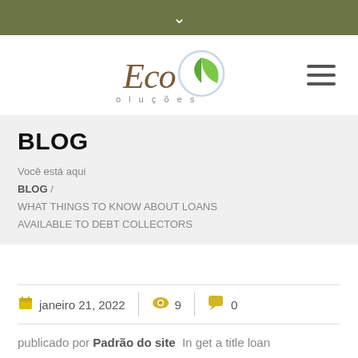∨
[Figure (logo): Eco Soluções logo with stylized cursive 'Eco' text and green leaf icon]
BLOG
Você está aqui
BLOG /
WHAT THINGS TO KNOW ABOUT LOANS AVAILABLE TO DEBT COLLECTORS
janeiro 21, 2022  9  0
publicado por Padrão do site  In get a title loan